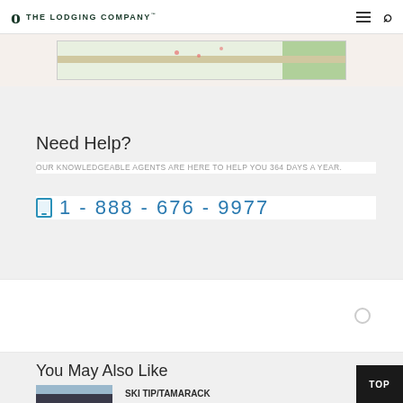The Lodging Company
[Figure (map): Partial map view showing roads and green areas]
Need Help?
OUR KNOWLEDGEABLE AGENTS ARE HERE TO HELP YOU 364 DAYS A YEAR.
1 - 888 - 676 - 9977
You May Also Like
[Figure (photo): Mountain lodge photo thumbnail showing snowy mountains and dark building]
SKI TIP/TAMARACK
USD 171